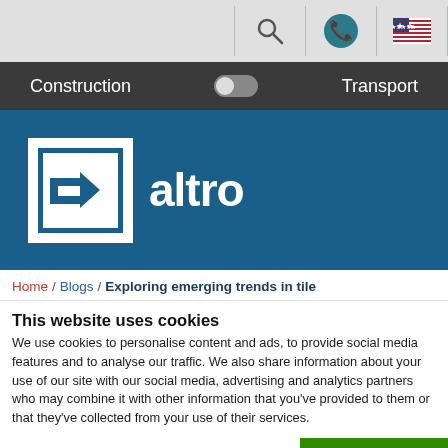[Figure (screenshot): Top navigation bar with search icon, phone icon (teal circle), and US flag icon on grey background with vertical dividers]
Construction   [toggle]   Transport
[Figure (logo): Altro logo: white square with dark teal arrow/bracket symbol, followed by 'altro' in white text on dark teal background]
Home / Blogs / Exploring emerging trends in tile
This website uses cookies
We use cookies to personalise content and ads, to provide social media features and to analyse our traffic. We also share information about your use of our site with our social media, advertising and analytics partners who may combine it with other information that you've provided to them or that they've collected from your use of their services.
OK
Necessary   Preferences   Statistics   Marketing   Show details